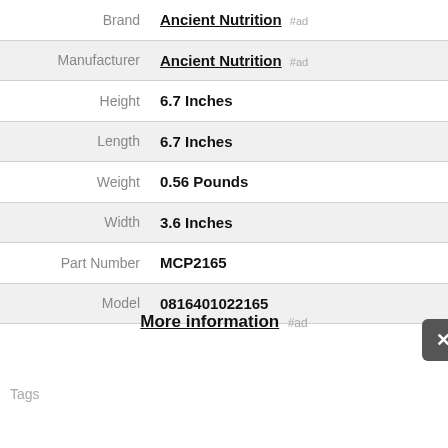| Label | Value |
| --- | --- |
| Brand | Ancient Nutrition #ad |
| Manufacturer | Ancient Nutrition #ad |
| Height | 6.7 Inches |
| Length | 6.7 Inches |
| Weight | 0.56 Pounds |
| Width | 3.6 Inches |
| Part Number | MCP2165 |
| Model | 0816401022165 |
More information #ad
Tags
As an Amazon Associate I earn from qualifying purchases. This website uses the only necessary cookies to ensure you get the best experience on our website. More information